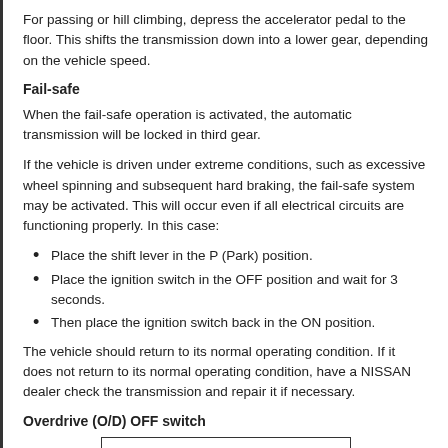For passing or hill climbing, depress the accelerator pedal to the floor. This shifts the transmission down into a lower gear, depending on the vehicle speed.
Fail-safe
When the fail-safe operation is activated, the automatic transmission will be locked in third gear.
If the vehicle is driven under extreme conditions, such as excessive wheel spinning and subsequent hard braking, the fail-safe system may be activated. This will occur even if all electrical circuits are functioning properly. In this case:
Place the shift lever in the P (Park) position.
Place the ignition switch in the OFF position and wait for 3 seconds.
Then place the ignition switch back in the ON position.
The vehicle should return to its normal operating condition. If it does not return to its normal operating condition, have a NISSAN dealer check the transmission and repair it if necessary.
Overdrive (O/D) OFF switch
[Figure (illustration): A framed illustration showing a partial view of an automotive component, partially visible at the bottom of the page.]